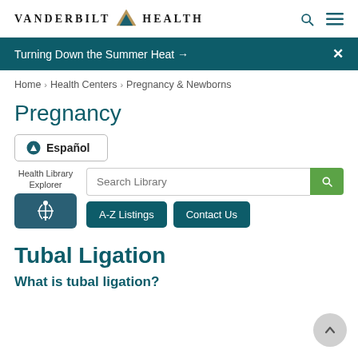VANDERBILT HEALTH
Turning Down the Summer Heat →
Home > Health Centers > Pregnancy & Newborns
Pregnancy
Español
Health Library Explorer
Search Library
A-Z Listings   Contact Us
Tubal Ligation
What is tubal ligation?